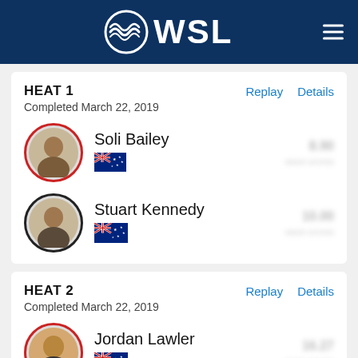WSL
HEAT 1
Completed March 22, 2019
Soli Bailey
Stuart Kennedy
HEAT 2
Completed March 22, 2019
Jordan Lawler